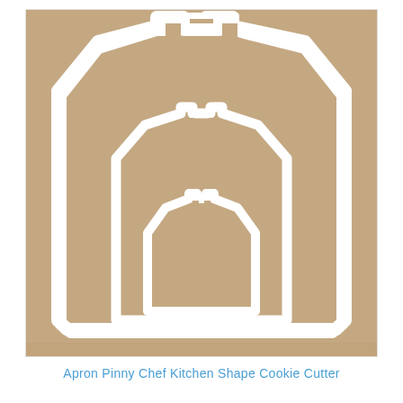[Figure (photo): Three white plastic apron-shaped cookie cutters of decreasing sizes nested together, photographed on a tan/beige cardboard background. Each cutter is shaped like a chef's pinny/apron with shoulder straps and a neck cutout at the top.]
Apron Pinny Chef Kitchen Shape Cookie Cutter